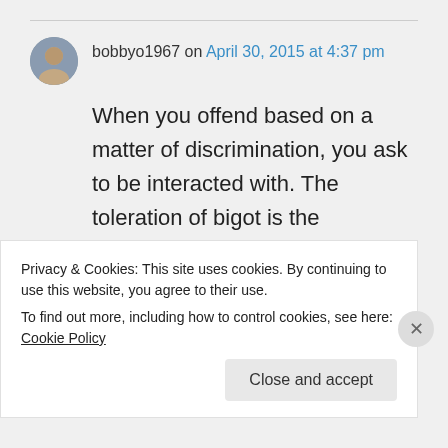bobbyo1967 on April 30, 2015 at 4:37 pm
When you offend based on a matter of discrimination, you ask to be interacted with. The toleration of bigot is the
Privacy & Cookies: This site uses cookies. By continuing to use this website, you agree to their use.
To find out more, including how to control cookies, see here: Cookie Policy